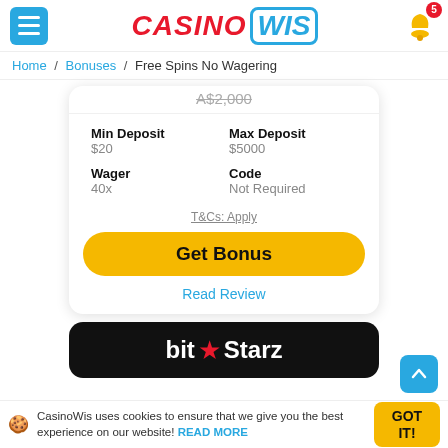CASINO WIS — Menu / Notifications
Home / Bonuses / Free Spins No Wagering
A$2,000
| Min Deposit | Max Deposit |
| --- | --- |
| $20 | $5000 |
| Wager | Code |
| --- | --- |
| 40x | Not Required |
T&Cs: Apply
Get Bonus
Read Review
[Figure (logo): BitStarz casino logo on black background]
CasinoWis uses cookies to ensure that we give you the best experience on our website! READ MORE